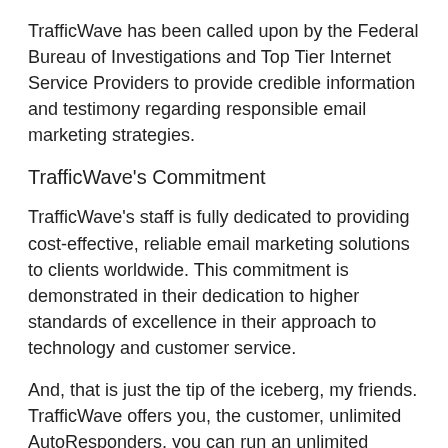TrafficWave has been called upon by the Federal Bureau of Investigations and Top Tier Internet Service Providers to provide credible information and testimony regarding responsible email marketing strategies.
TrafficWave's Commitment
TrafficWave's staff is fully dedicated to providing cost-effective, reliable email marketing solutions to clients worldwide. This commitment is demonstrated in their dedication to higher standards of excellence in their approach to technology and customer service.
And, that is just the tip of the iceberg, my friends. TrafficWave offers you, the customer, unlimited AutoResponders, you can run an unlimited [infinite] number of campaigns with an unlimited [infinite] number of subscribers. They also provide a
great tracking service, unlimited trackers, too.